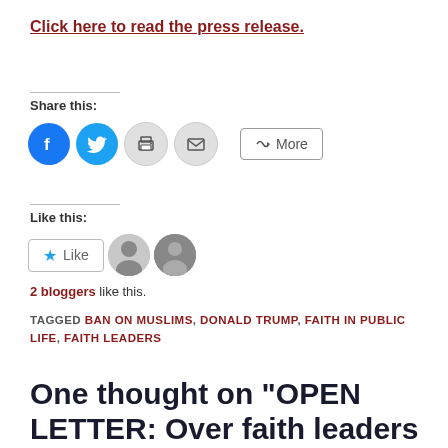Click here to read the press release.
Share this:
[Figure (other): Social share buttons: Facebook, Twitter, Print, Email, More]
Like this:
[Figure (other): Like button with star icon and two blogger avatars]
2 bloggers like this.
TAGGED BAN ON MUSLIMS, DONALD TRUMP, FAITH IN PUBLIC LIFE, FAITH LEADERS
One thought on “OPEN LETTER: Over faith leaders tell…